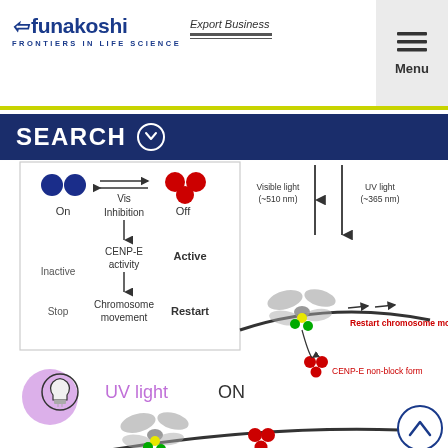Funakoshi — Export Business — FRONTIERS IN LIFE SCIENCE
SEARCH
[Figure (schematic): Scientific diagram showing optogenetic control of CENP-E motor protein activity. Left panel shows On/Off states with Vis light inhibition, CENP-E activity, and Chromosome movement/Restart. Right panel shows dragonfly-like motor protein on microtubule with Visible light (~510 nm) and UV light (~365 nm) arrows, Restart chromosome movement label in red, and CENP-E non-block form label in red. Bottom section shows UV light ON with purple lamp illustration and dragonfly motor on curved microtubule with red CENP-E non-block form molecules.]